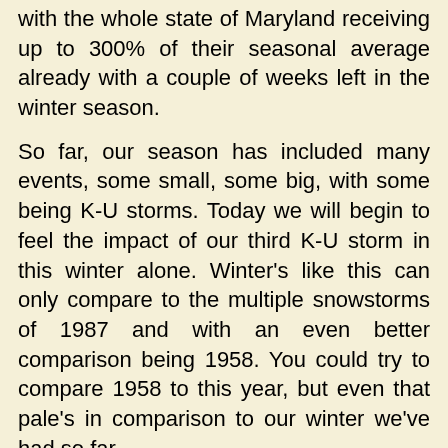with the whole state of Maryland receiving up to 300% of their seasonal average already with a couple of weeks left in the winter season.
So far, our season has included many events, some small, some big, with some being K-U storms. Today we will begin to feel the impact of our third K-U storm in this winter alone. Winter's like this can only compare to the multiple snowstorms of 1987 and with an even better comparison being 1958. You could try to compare 1958 to this year, but even that pale's in comparison to our winter we've had so far.
12:30 PM MONDAY 02.08.10 -We prepare once again for a big kahuna event. After collaboration, it seems evident that another significant witner storm will hit the Mid-Atlantic and this time parts of the northeast as well. The storm has showed a bit of a trend, actually quite a decent trend south at H5, which is something people in Maryland need if you